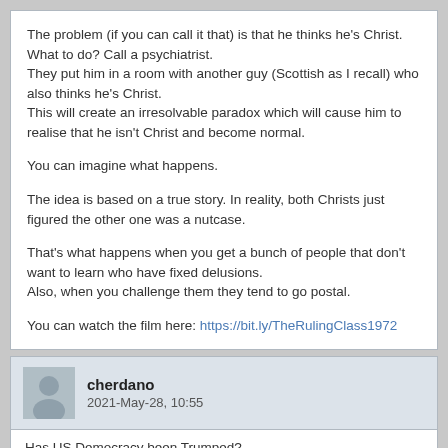The problem (if you can call it that) is that he thinks he's Christ. What to do? Call a psychiatrist.
They put him in a room with another guy (Scottish as I recall) who also thinks he's Christ.
This will create an irresolvable paradox which will cause him to realise that he isn't Christ and become normal.

You can imagine what happens.

The idea is based on a true story. In reality, both Christs just figured the other one was a nutcase.

That's what happens when you get a bunch of people that don't want to learn who have fixed delusions.
Also, when you challenge them they tend to go postal.

You can watch the film here: https://bit.ly/TheRulingClass1972
cherdano
2021-May-28, 10:55
Has US Democracy been Trumped?